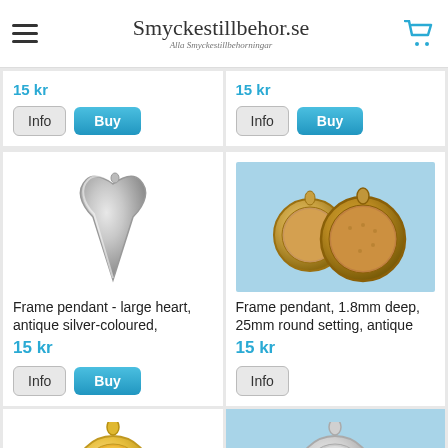Smyckestillbehor.se - Alla Smyckestillbehorningar
[Figure (photo): Partial product card top-left with Info and Buy buttons, price 15 kr]
[Figure (photo): Partial product card top-right with Info and Buy buttons, price 15 kr]
[Figure (photo): Frame pendant - large heart, antique silver-coloured pendant jewelry item]
Frame pendant - large heart, antique silver-coloured,
15 kr
Info  Buy
[Figure (photo): Frame pendant, 1.8mm deep, 25mm round setting, antique - two round antique gold-coloured frame pendants on blue background]
Frame pendant, 1.8mm deep, 25mm round setting, antique
15 kr
Info
[Figure (photo): Partial bottom-left product card showing gold-coloured round frame pendant]
[Figure (photo): Partial bottom-right product card showing silver-coloured round frame pendant on blue background]